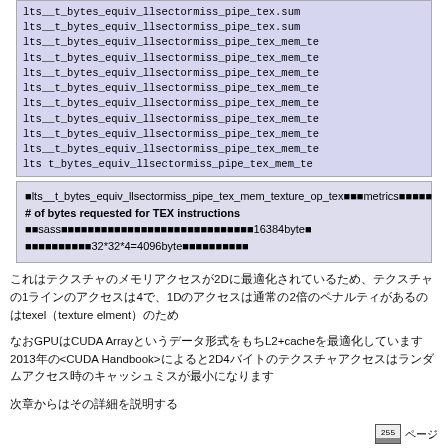[Figure (screenshot): Code block showing lines of lts__t_bytes_equiv_llsectormiss_pipe_tex variants in a monospace font on a blue-gray background]
lts__t_bytes_equiv_llsectormiss_pipe_tex_mem_texture_op_texのmetricsの説明
# of bytes requested for TEX instructions
なおsassのwarpあたりのtexのアクセスサイズの最大は16384byteで
一辺の最大サイズは32*32*4=4096byteとなっています
これはテクスチャのメモリアクセスが2Dに最適化されているため、テクスチャの1ラインのアクセスは4で、1Dのアクセスは通常の2倍のペナルティがあるのはtexelすなわちtexture elmentのため
なおGPUはCUDA Arrayというデータ形式をもちL2+cacheを最適化しています2013年の<CUDA Handbook>によると2D4バイトのテクスチャアクセスはランダムアクセス時のキャッシュミスが最小になります
次章からはその詳細を説明する
255 ページ